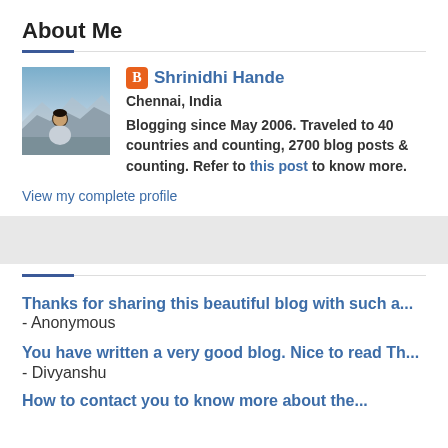About Me
[Figure (photo): Profile photo of Shrinidhi Hande - a man photographed outdoors with a mountainous landscape in the background]
Shrinidhi Hande
Chennai, India
Blogging since May 2006. Traveled to 40 countries and counting, 2700 blog posts & counting. Refer to this post to know more.
View my complete profile
Thanks for sharing this beautiful blog with such a... - Anonymous
You have written a very good blog. Nice to read Th... - Divyanshu
How to contact you to know more about the...